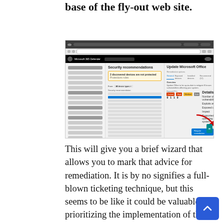base of the fly-out web site.
[Figure (screenshot): Screenshot of Microsoft 365 Defender security recommendations panel showing 'Update Microsoft Office' selected, with remediation button highlighted by red arrow.]
This will give you a brief wizard that allows you to mark that advice for remediation. It is by no signifies a full-blown ticketing technique, but this seems to be like it could be valuable for prioritizing the implementation of these recommendations in your staff. Not super handy for me, as I am the only administrator in